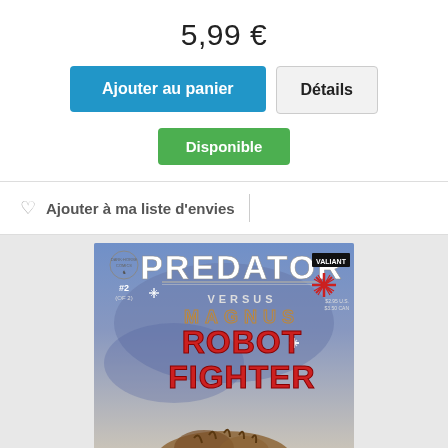5,99 €
Ajouter au panier
Détails
Disponible
Ajouter à ma liste d'envies
[Figure (photo): Comic book cover: Predator versus Magnus Robot Fighter #2, Dark Horse Comics / Valiant crossover, blue space background with large title text]